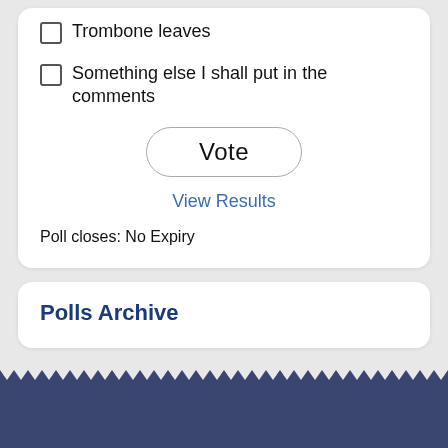Trombone leaves
Something else I shall put in the comments
Vote
View Results
Poll closes: No Expiry
Polls Archive